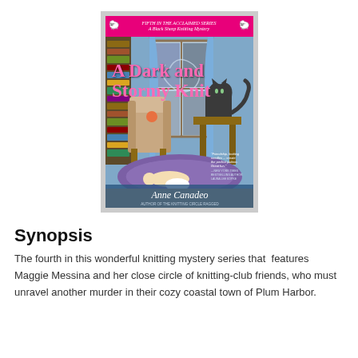[Figure (illustration): Book cover of 'A Dark and Stormy Knit' by Anne Canadeo, fourth in the Black Sheep Knitting Mystery series. Pink top banner with series title and black sheep silhouettes, large pink title text, illustrated scene of a library with a cat sitting on a desk looking out a window, an ornate chair, a person lying on a rug knitting, bookshelves, and blue curtains. Author name at bottom.]
Synopsis
The fourth in this wonderful knitting mystery series that  features Maggie Messina and her close circle of knitting-club friends, who must unravel another murder in their cozy coastal town of Plum Harbor.